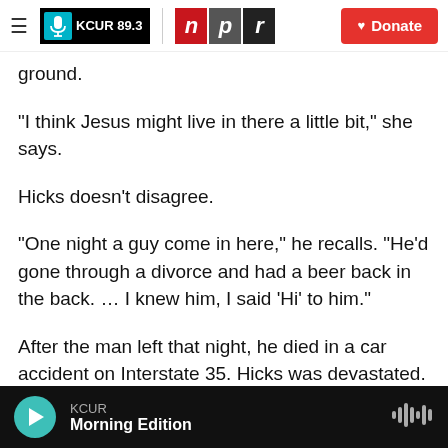KCUR 89.3 | npr | Donate
ground.
"I think Jesus might live in there a little bit," she says.
Hicks doesn't disagree.
"One night a guy come in here," he recalls. "He'd gone through a divorce and had a beer back in the back. … I knew him, I said 'Hi' to him."
After the man left that night, he died in a car accident on Interstate 35. Hicks was devastated. "I said, 'I don't know if I want to keep doing this.'" But
KCUR Morning Edition